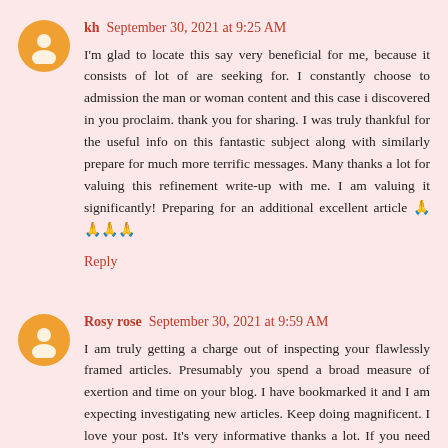kh  September 30, 2021 at 9:25 AM
I'm glad to locate this say very beneficial for me, because it consists of lot of are seeking for. I constantly choose to admission the man or woman content and this case i discovered in you proclaim. thank you for sharing. I was truly thankful for the useful info on this fantastic subject along with similarly prepare for much more terrific messages. Many thanks a lot for valuing this refinement write-up with me. I am valuing it significantly! Preparing for an additional excellent article 🙏🙏🙏🙏
Reply
Rosy rose  September 30, 2021 at 9:59 AM
I am truly getting a charge out of inspecting your flawlessly framed articles. Presumably you spend a broad measure of exertion and time on your blog. I have bookmarked it and I am expecting investigating new articles. Keep doing magnificent. I love your post. It's very informative thanks a lot. If you need material building . Thank you for giving me useful information. Please keep continue this informative blog for us 🙏🙏🙏🙏